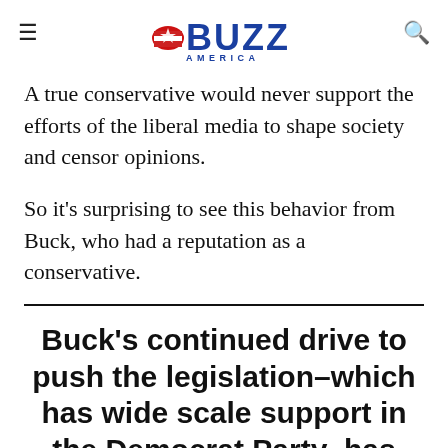BUZZ AMERICA
A true conservative would never support the efforts of the liberal media to shape society and censor opinions.
So it's surprising to see this behavior from Buck, who had a reputation as a conservative.
Buck's continued drive to push the legislation–which has wide scale support in the Democrat Party–has